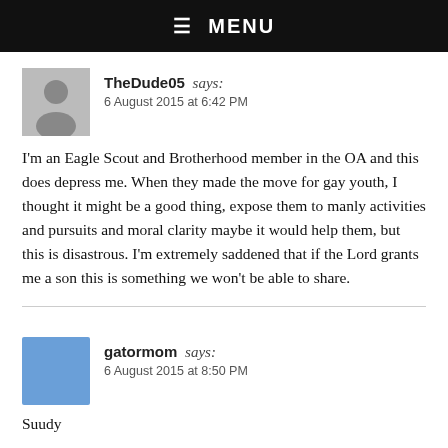☰ MENU
TheDude05 says:
6 August 2015 at 6:42 PM
I'm an Eagle Scout and Brotherhood member in the OA and this does depress me. When they made the move for gay youth, I thought it might be a good thing, expose them to manly activities and pursuits and moral clarity maybe it would help them, but this is disastrous. I'm extremely saddened that if the Lord grants me a son this is something we won't be able to share.
gatormom says:
6 August 2015 at 8:50 PM
Suudy